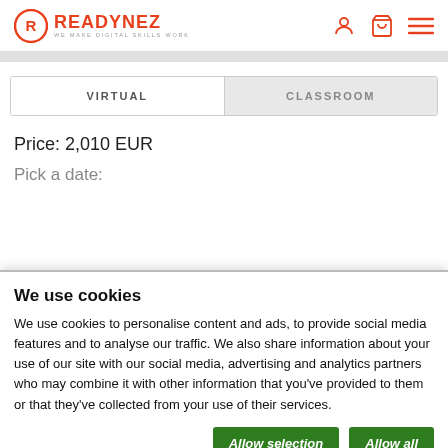[Figure (logo): Readynez logo with orange circle R icon and text READYNEZ with tagline WE MAKE DIGITAL SKILLS WORK]
VIRTUAL	CLASSROOM
Price: 2,010 EUR
Pick a date:
We use cookies
We use cookies to personalise content and ads, to provide social media features and to analyse our traffic. We also share information about your use of our site with our social media, advertising and analytics partners who may combine it with other information that you've provided to them or that they've collected from your use of their services.
Allow selection | Allow all
Necessary  Preferences  Statistics  Marketing  Show details